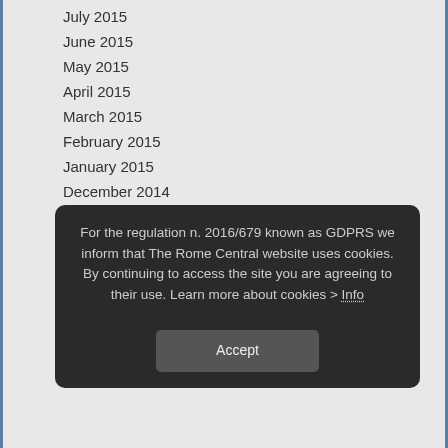July 2015
June 2015
May 2015
April 2015
March 2015
February 2015
January 2015
December 2014
November 2014
October 2014
September 2014
July 2014
June 2014
May 2014
April 2014
For the regulation n. 2016/679 known as GDPRS we inform that The Rome Central website uses cookies. By continuing to access the site you are agreeing to their use. Learn more about cookies > Info
Accept